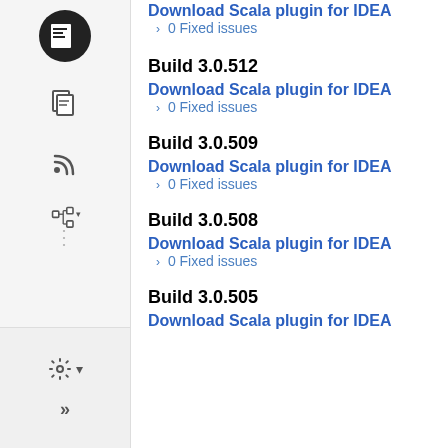Download Scala plugin for IDEA
> 0 Fixed issues
Build 3.0.512
Download Scala plugin for IDEA
> 0 Fixed issues
Build 3.0.509
Download Scala plugin for IDEA
> 0 Fixed issues
Build 3.0.508
Download Scala plugin for IDEA
> 0 Fixed issues
Build 3.0.505
Download Scala plugin for IDEA